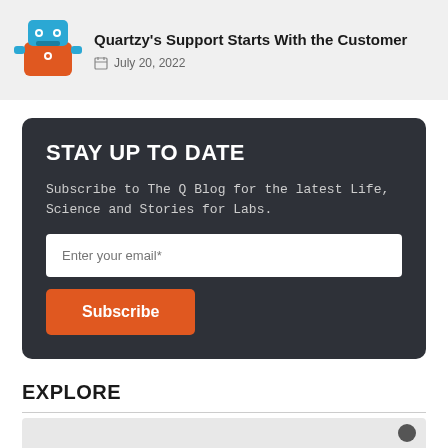[Figure (logo): Quartzy robot mascot logo in blue and orange]
Quartzy's Support Starts With the Customer
July 20, 2022
STAY UP TO DATE
Subscribe to The Q Blog for the latest Life, Science and Stories for Labs.
EXPLORE